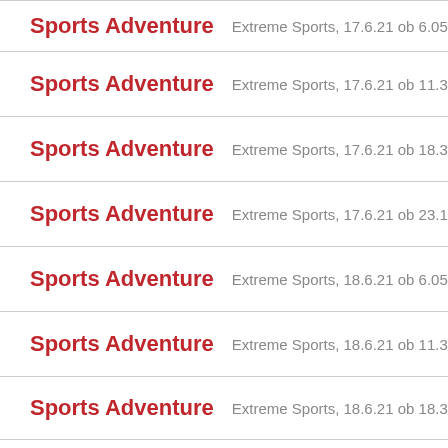Sports Adventure — Extreme Sports, 17.6.21 ob 6.05
Sports Adventure — Extreme Sports, 17.6.21 ob 11.30
Sports Adventure — Extreme Sports, 17.6.21 ob 18.35
Sports Adventure — Extreme Sports, 17.6.21 ob 23.15
Sports Adventure — Extreme Sports, 18.6.21 ob 6.05
Sports Adventure — Extreme Sports, 18.6.21 ob 11.30
Sports Adventure — Extreme Sports, 18.6.21 ob 18.35